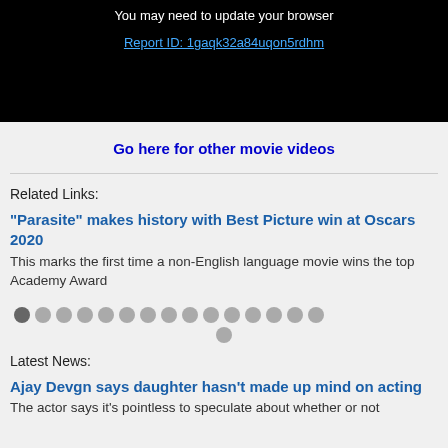[Figure (screenshot): Black video player area showing error text 'You may need to update your browser' and a report ID link]
You may need to update your browser
Report ID: 1gaqk32a84uqon5rdhm
Go here for other movie videos
Related Links:
"Parasite" makes history with Best Picture win at Oscars 2020
This marks the first time a non-English language movie wins the top Academy Award
Latest News:
Ajay Devgn says daughter hasn't made up mind on acting
The actor says it's pointless to speculate about whether or not